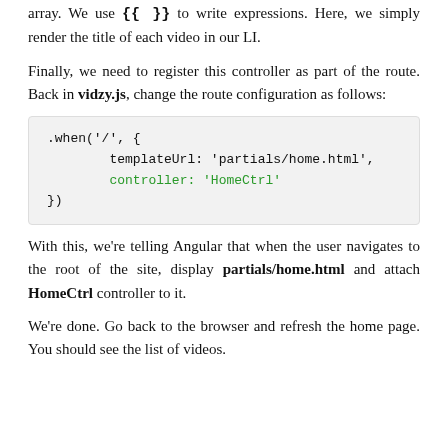element will be repeated for each item in the videos array. We use {{ }} to write expressions. Here, we simply render the title of each video in our LI.
Finally, we need to register this controller as part of the route. Back in vidzy.js, change the route configuration as follows:
[Figure (screenshot): Code block showing .when('/', { templateUrl: 'partials/home.html', controller: 'HomeCtrl' })]
With this, we're telling Angular that when the user navigates to the root of the site, display partials/home.html and attach HomeCtrl controller to it.
We're done. Go back to the browser and refresh the home page. You should see the list of videos.